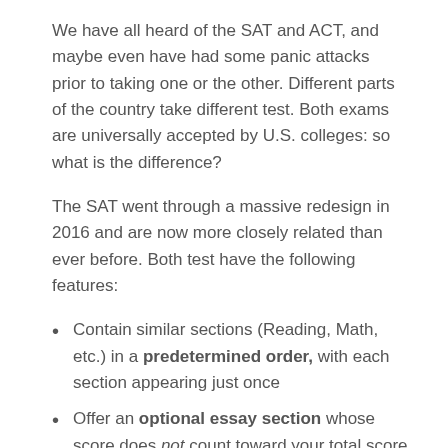We have all heard of the SAT and ACT, and maybe even have had some panic attacks prior to taking one or the other. Different parts of the country take different test. Both exams are universally accepted by U.S. colleges: so what is the difference?
The SAT went through a massive redesign in 2016 and are now more closely related than ever before. Both test have the following features:
Contain similar sections (Reading, Math, etc.) in a predetermined order, with each section appearing just once
Offer an optional essay section whose score does not count toward your total score
Use rights-only scoring, meaning you will not be penalized for incorrect answers
Contain entirely passage-based Reading and